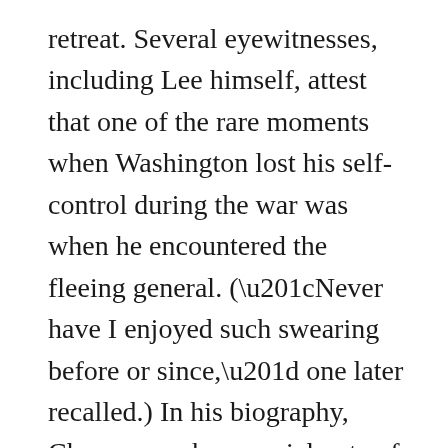retreat. Several eyewitnesses, including Lee himself, attest that one of the rare moments when Washington lost his self-control during the war was when he encountered the fleeing general. (“Never have I enjoyed such swearing before or since,” one later recalled.) In his biography, Chernow makes special note of this display of “the temperamental side of Washington that he ordinarily kept well under wraps.” It was at that moment Washington took personal command, rallied the retreating forces, and turned